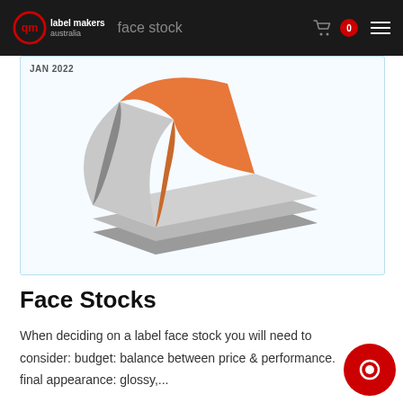face stock
JAN 2022
[Figure (illustration): Illustration of label roll/sheets being peeled apart, showing layers in gray and orange colors]
Face Stocks
When deciding on a label face stock you will need to consider: budget: balance between price & performance. final appearance: glossy,...